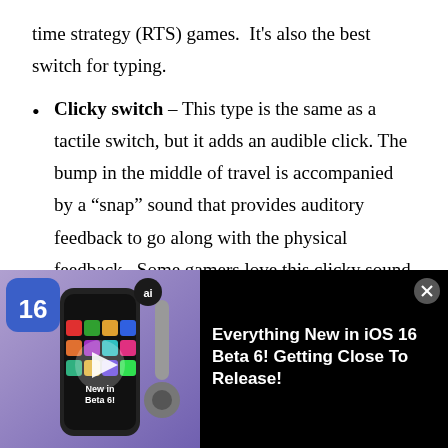time strategy (RTS) games.  It's also the best switch for typing.
Clicky switch – This type is the same as a tactile switch, but it adds an audible click. The bump in the middle of travel is accompanied by a “snap” sound that provides auditory feedback to go along with the physical feedback.  Some gamers love this clicky sound, while others hate it.
If you’re a very, very good gamer, one who is in the top 5% of your sport, they will want to get a
[Figure (screenshot): Advertisement banner showing iOS 16 content with text 'Everything New in iOS 16 Beta 6! Getting Close To Release!' on a black background with a phone image and iOS 16 logo.]